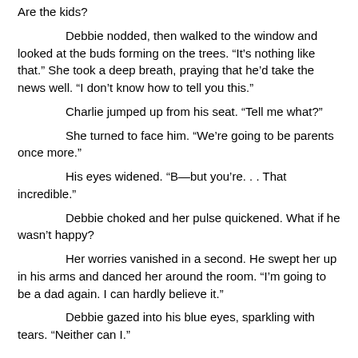Are the kids?
Debbie nodded, then walked to the window and looked at the buds forming on the trees. “It’s nothing like that.” She took a deep breath, praying that he’d take the news well. “I don’t know how to tell you this.”
Charlie jumped up from his seat. “Tell me what?”
She turned to face him. “We’re going to be parents once more.”
His eyes widened. “B—but you’re. . . That incredible.”
Debbie choked and her pulse quickened. What if he wasn’t happy?
Her worries vanished in a second. He swept her up in his arms and danced her around the room. “I’m going to be a dad again. I can hardly believe it.”
Debbie gazed into his blue eyes, sparkling with tears. “Neither can I.”